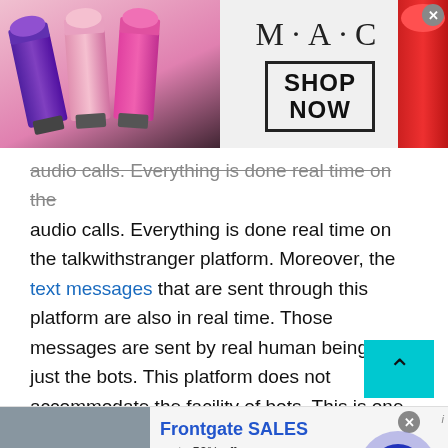[Figure (photo): MAC cosmetics advertisement banner with lipsticks on left, MAC logo in center, SHOP NOW button in box, red lipstick on right, close button top right]
audio calls. Everything is done real time on the talkwithstranger platform. Moreover, the text messages that are sent through this platform are also in real time. Those messages are sent by real human beings and just the bots. This platform does not accommodate the facility of bots. This is one of the biggest reasons that this platform is one of the best websites if you want to talk to a stranger online.

Alongside this application is way more than just a
[Figure (screenshot): Frontgate SALES advertisement banner with outdoor furniture image, 'up to 50% off', frontgate.com, navigation arrow button]